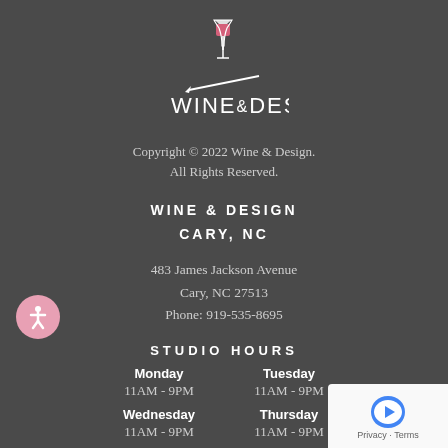[Figure (logo): Wine & Design logo with wine glass icon and paintbrush]
Copyright © 2022 Wine & Design. All Rights Reserved.
WINE & DESIGN
CARY, NC
483 James Jackson Avenue
Cary, NC 27513
Phone: 919-535-8695
STUDIO HOURS
Monday   Tuesday
11AM - 9PM   11AM - 9PM
Wednesday   Thursday
11AM - 9PM   11AM - 9PM
Friday   Saturday